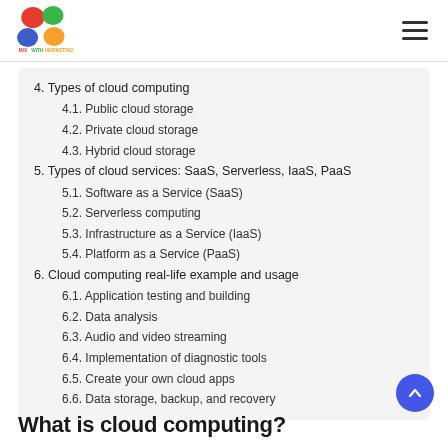MixWithMarketing logo and navigation
4. Types of cloud computing
4.1. Public cloud storage
4.2. Private cloud storage
4.3. Hybrid cloud storage
5. Types of cloud services: SaaS, Serverless, IaaS, PaaS
5.1. Software as a Service (SaaS)
5.2. Serverless computing
5.3. Infrastructure as a Service (IaaS)
5.4. Platform as a Service (PaaS)
6. Cloud computing real-life example and usage
6.1. Application testing and building
6.2. Data analysis
6.3. Audio and video streaming
6.4. Implementation of diagnostic tools
6.5. Create your own cloud apps
6.6. Data storage, backup, and recovery
What is cloud computing?